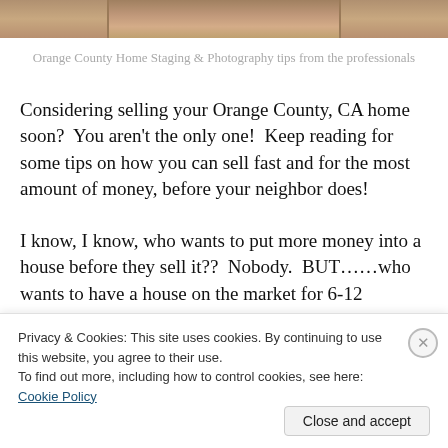[Figure (photo): Partial photo of a decorative object, cropped at top of page]
Orange County Home Staging & Photography tips from the professionals
Considering selling your Orange County, CA home soon?  You aren't the only one!  Keep reading for some tips on how you can sell fast and for the most amount of money, before your neighbor does!
I know, I know, who wants to put more money into a house before they sell it??  Nobody.  BUT……who wants to have a house on the market for 6-12 months?  Also nobody
Privacy & Cookies: This site uses cookies. By continuing to use this website, you agree to their use.
To find out more, including how to control cookies, see here: Cookie Policy
Close and accept